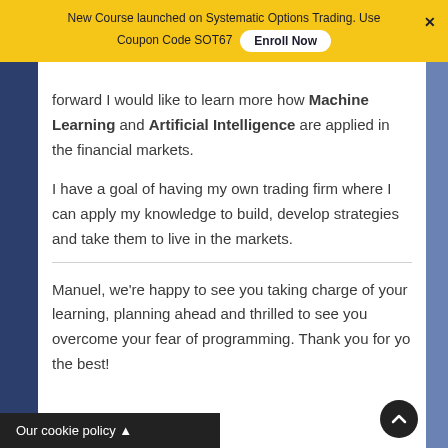New Course launched on Systematic Options Trading. Use Coupon Code SOT67  Enroll Now
forward I would like to learn more how Machine Learning and Artificial Intelligence are applied in the financial markets.
I have a goal of having my own trading firm where I can apply my knowledge to build, develop strategies and take them to live in the markets.
Manuel, we're happy to see you taking charge of your learning, planning ahead and thrilled to see you overcome your fear of programming. Thank you for yo... the best!
Our cookie policy ▲